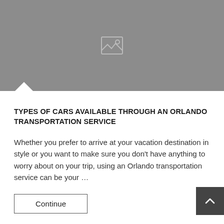[Figure (photo): Gray placeholder image with a mountain/landscape icon in the center]
TYPES OF CARS AVAILABLE THROUGH AN ORLANDO TRANSPORTATION SERVICE
Whether you prefer to arrive at your vacation destination in style or you want to make sure you don't have anything to worry about on your trip, using an Orlando transportation service can be your …